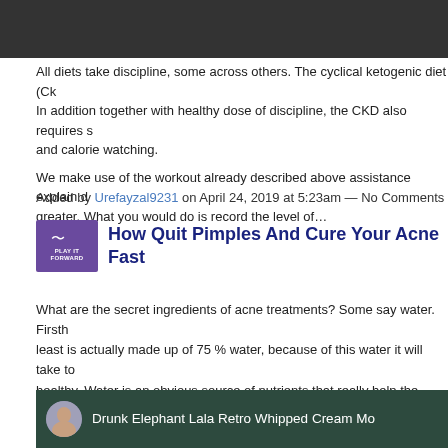[Figure (screenshot): Dark gray/black banner bar at top of page]
All diets take discipline, some across others. The cyclical ketogenic diet (CK... In addition together with healthy dose of discipline, the CKD also requires s... and calorie watching.
We make use of the workout already described above assistance explain d... greater. What you would do is record the level of…
Continue
Added by Urefayzal9231 on April 24, 2019 at 5:23am — No Comments
How Quit Pimples And Cure Your Acne Fast
What are the secret ingredients of acne treatments? Some say water. Firsth... least is actually made up of 75 % water, because of this water it will take to... healthy. Water is an obvious source of nutrients that really help the body in... comprehend does it help fight acne?
[Figure (screenshot): Video thumbnail showing a woman holding a cream product. Text overlay reads: Drunk Elephant Lala Retro Whipped Cream Mo. Background has cursive watermark text 'Drunk Elephant LaLa Retro Whipped Cream'.]